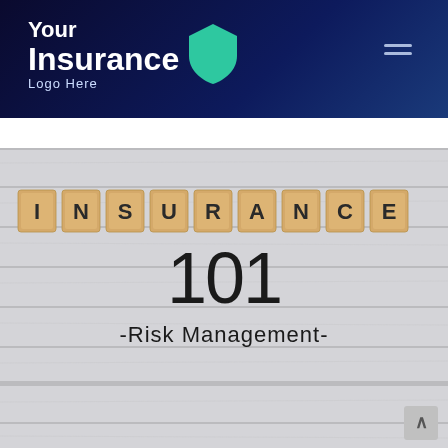[Figure (logo): Your Insurance Logo Here with shield icon and hamburger menu on dark navy blue gradient header]
[Figure (photo): Wooden plank background with scrabble tile letters spelling INSURANCE, large number 101 below, and text -Risk Management- beneath, forming a cover image for Insurance 101 Risk Management article]
INSURANCE
101
-Risk Management-